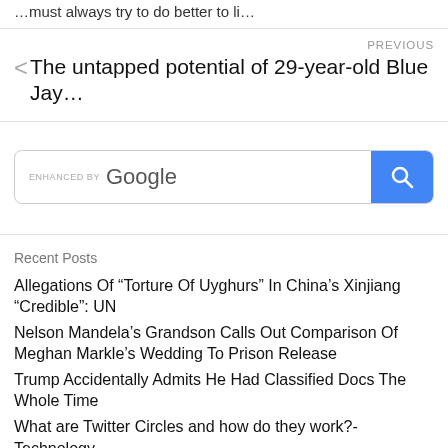...must always try to do better to li...
PREVIOUS
< The untapped potential of 29-year-old Blue Jay...
[Figure (screenshot): Google search bar with 'ENHANCED BY Google' text and blue search button with magnifying glass icon]
Recent Posts
Allegations Of “Torture Of Uyghurs” In China’s Xinjiang “Credible”: UN
Nelson Mandela’s Grandson Calls Out Comparison Of Meghan Markle’s Wedding To Prison Release
Trump Accidentally Admits He Had Classified Docs The Whole Time
What are Twitter Circles and how do they work?- Technology